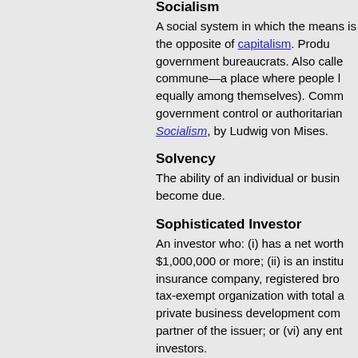Socialism
A social system in which the means is the opposite of capitalism. Produ government bureaucrats. Also calle commune—a place where people l equally among themselves). Comm government control or authoritarian Socialism, by Ludwig von Mises.
Solvency
The ability of an individual or busin become due.
Sophisticated Investor
An investor who: (i) has a net worth $1,000,000 or more; (ii) is an institu insurance company, registered bro tax-exempt organization with total a private business development com partner of the issuer; or (vi) any ent investors.
Sound Money
A medium of exchange that is not e consistent weight and quality. Anto
Sovereign wealth funds